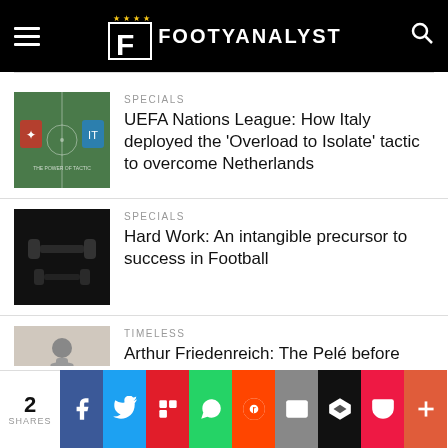FOOTYANALYST
SPECIALS
UEFA Nations League: How Italy deployed the ‘Overload to Isolate’ tactic to overcome Netherlands
SPECIALS
Hard Work: An intangible precursor to success in Football
TIMELESS
Arthur Friedenreich: The Pelé before Pelé who became Brazil's first superstar
[Figure (infographic): Social share bar with 2 SHARES and icons for Facebook, Twitter, Flipboard, WhatsApp, Reddit, Email, Buffer, Pocket, and More]